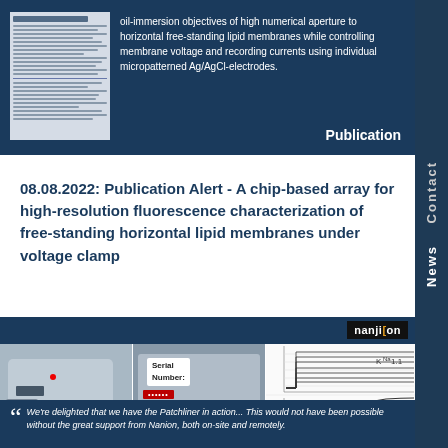[Figure (photo): Top dark-blue panel showing a thumbnail of a scientific paper on the left and descriptive text on the right, with 'Publication' label at bottom-right]
oil-immersion objectives of high numerical aperture to horizontal free-standing lipid membranes while controlling membrane voltage and recording currents using individual micropatterned Ag/AgCl-electrodes.
Publication
08.08.2022: Publication Alert - A chip-based array for high-resolution fluorescence characterization of free-standing horizontal lipid membranes under voltage clamp
[Figure (photo): Bottom panel with three photos: a patch-clamp device (15 years old label), a device with Serial Number label, and electrophysiology trace charts labeled K_Na1.1]
We're delighted that we have the Patchliner in action... This would not have been possible without the great support from Nanion, both on-site and remotely.